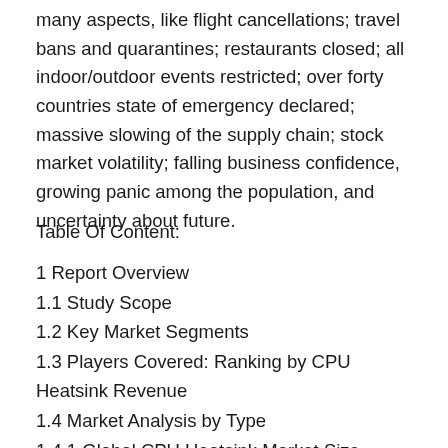many aspects, like flight cancellations; travel bans and quarantines; restaurants closed; all indoor/outdoor events restricted; over forty countries state of emergency declared; massive slowing of the supply chain; stock market volatility; falling business confidence, growing panic among the population, and uncertainty about future.
Table Of Content:
1 Report Overview
1.1 Study Scope
1.2 Key Market Segments
1.3 Players Covered: Ranking by CPU Heatsink Revenue
1.4 Market Analysis by Type
1.4.1 Global CPU Heatsink Market Size Growth Rate by Type: 2021 VS 2027
1.4.2 Air Cooling